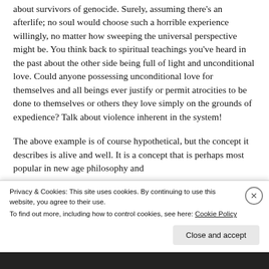about survivors of genocide. Surely, assuming there's an afterlife; no soul would choose such a horrible experience willingly, no matter how sweeping the universal perspective might be. You think back to spiritual teachings you've heard in the past about the other side being full of light and unconditional love. Could anyone possessing unconditional love for themselves and all beings ever justify or permit atrocities to be done to themselves or others they love simply on the grounds of expedience? Talk about violence inherent in the system!
The above example is of course hypothetical, but the concept it describes is alive and well. It is a concept that is perhaps most popular in new age philosophy and
Privacy & Cookies: This site uses cookies. By continuing to use this website, you agree to their use. To find out more, including how to control cookies, see here: Cookie Policy